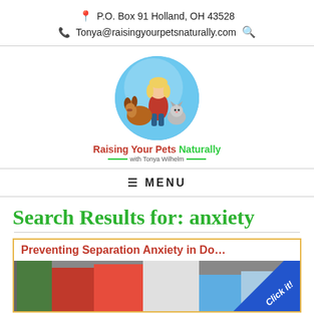P.O. Box 91 Holland, OH 43528
Tonya@raisingyourpetsnaturally.com
[Figure (logo): Illustrated logo showing a woman with a dog and cat in a blue circle, with text 'Raising Your Pets Naturally with Tonya Wilhelm']
MENU
Search Results for: anxiety
[Figure (photo): Article card titled 'Preventing Separation Anxiety in Do...' with a photo of colorful bags/items and a blue 'Click it!' corner badge]